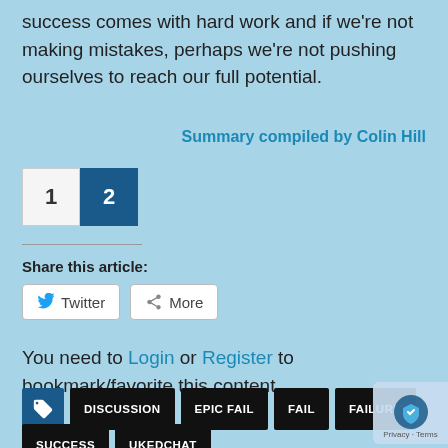success comes with hard work and if we're not making mistakes, perhaps we're not pushing ourselves to reach our full potential.
Summary compiled by Colin Hill
1  2
Share this article:
Twitter  More
You need to Login or Register to bookmark/favorite this content.
DISCUSSION  EPIC FAIL  FAIL  FAILURE  SUCCESS  UKEDCHAT